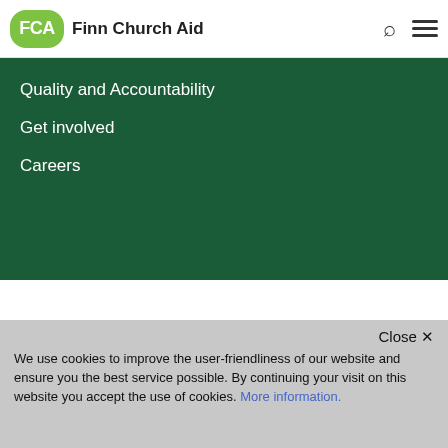FCA Finn Church Aid
Quality and Accountability
Get involved
Careers
[Figure (logo): CHS (Core Humanitarian Standard) logo — a blue arc with a stylized owl face in dark circle, with 'CHS O' text rotated on the left side]
Close ×
We use cookies to improve the user-friendliness of our website and ensure you the best service possible. By continuing your visit on this website you accept the use of cookies. More information.